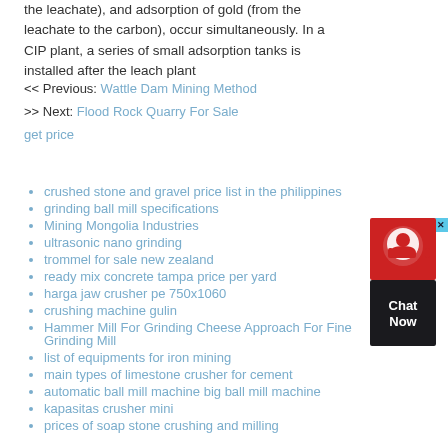the leachate), and adsorption of gold (from the leachate to the carbon), occur simultaneously. In a CIP plant, a series of small adsorption tanks is installed after the leach plant get price
<< Previous: Wattle Dam Mining Method
>> Next: Flood Rock Quarry For Sale
crushed stone and gravel price list in the philippines
grinding ball mill specifications
Mining Mongolia Industries
ultrasonic nano grinding
trommel for sale new zealand
ready mix concrete tampa price per yard
harga jaw crusher pe 750x1060
crushing machine gulin
Hammer Mill For Grinding Cheese Approach For Fine Grinding Mill
list of equipments for iron mining
main types of limestone crusher for cement
automatic ball mill machine big ball mill machine
kapasitas crusher mini
prices of soap stone crushing and milling
[Figure (other): Chat Now widget with red speech bubble icon and dark background]